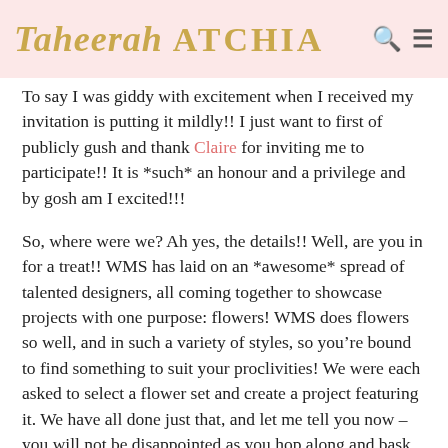Taheerah ATCHIA
To say I was giddy with excitement when I received my invitation is putting it mildly!! I just want to first of publicly gush and thank Claire for inviting me to participate!! It is *such* an honour and a privilege and by gosh am I excited!!!
So, where were we? Ah yes, the details!! Well, are you in for a treat!! WMS has laid on an *awesome* spread of talented designers, all coming together to showcase projects with one purpose: flowers! WMS does flowers so well, and in such a variety of styles, so you’re bound to find something to suit your proclivities! We were each asked to select a flower set and create a project featuring it. We have all done just that, and let me tell you now – you will not be disappointed as you hop along and bask in the glory of all these amazing creations!!